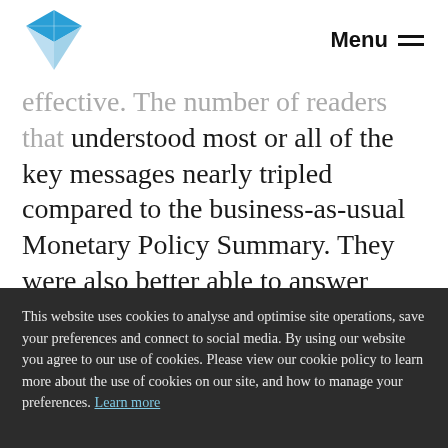Menu
effective. The number of readers that understood most or all of the key messages nearly tripled compared to the business-as-usual Monetary Policy Summary. They were also better able to answer more applied comprehension questions – like working out what salary increase is needed to keep the same living standards if prices are rising at a certain rate. Finally, they were more likely to
This website uses cookies to analyse and optimise site operations, save your preferences and connect to social media. By using our website you agree to our use of cookies. Please view our cookie policy to learn more about the use of cookies on our site, and how to manage your preferences. Learn more